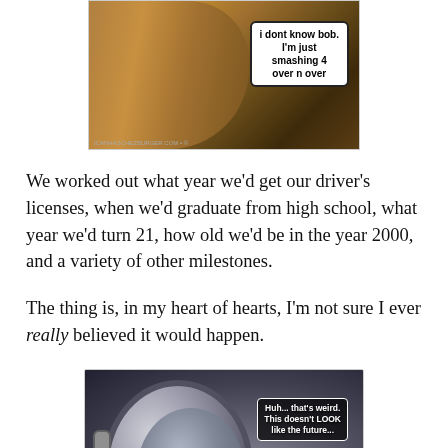[Figure (photo): Lolcat meme showing a cat at a keyboard with a speech bubble saying 'i dont know bob. I'm just smashing 4 over n over']
We worked out what year we'd get our driver's licenses, when we'd graduate from high school, what year we'd turn 21, how old we'd be in the year 2000, and a variety of other milestones.
The thing is, in my heart of hearts, I'm not sure I ever really believed it would happen.
[Figure (photo): Lolcat meme showing a cat inside a washing machine drum with speech bubble text 'Huh... that's weird. This doesn't LOOK like the future...']